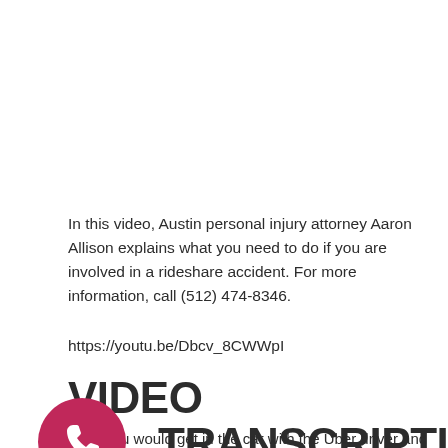In this video, Austin personal injury attorney Aaron Allison explains what you need to do if you are involved in a rideshare accident. For more information, call (512) 474-8346.
https://youtu.be/Dbcv_8CWWpI
VIDEO TRANSCRIPTION:
[Figure (illustration): Pink/magenta circle with white telephone handset icon]
Well, you would get in the car with the Uber driver and the